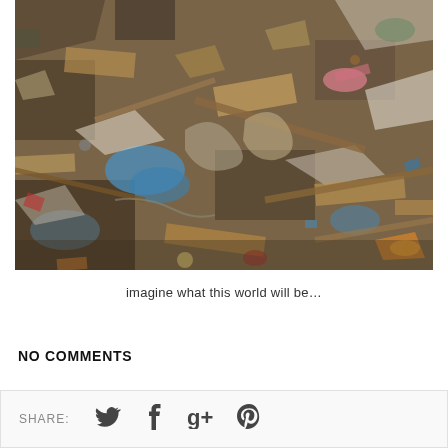[Figure (photo): Overhead close-up photograph of a large landfill/garbage dump filled with mixed waste including plastic bags, cardboard, wood, and various debris in earthy brown, blue, orange, and grey tones.]
imagine what this world will be...
NO COMMENTS
SHARE: